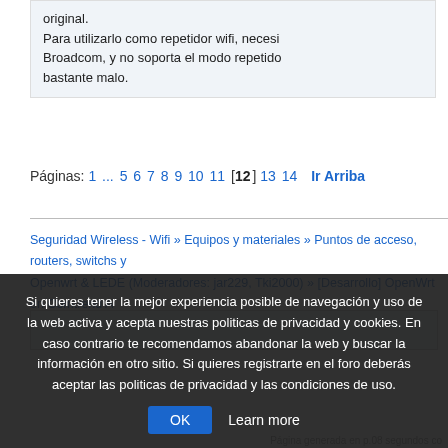original. Para utilizarlo como repetidor wifi, necesi Broadcom, y no soporta el modo repetido bastante malo.
Páginas: 1 ... 5 6 7 8 9 10 11 [12] 13 14  Ir Arriba
Seguridad Wireless - Wifi » Equipos y materiales » Puntos de acceso, routers, switchs y Openwrt & LEDE (Moderadores: jar229, Tki2000) » [Desarrollo] OpenWrt en Comtrend A
Si quieres tener la mejor experiencia posible de navegación y uso de la web activa y acepta nuestras politicas de privacidad y cookies. En caso contrario te recomendamos abandonar la web y buscar la información en otro sitio. Si quieres registrarte en el foro deberás aceptar las politicas de privacidad y las condiciones de uso.
Página generada en p.08 segundos co